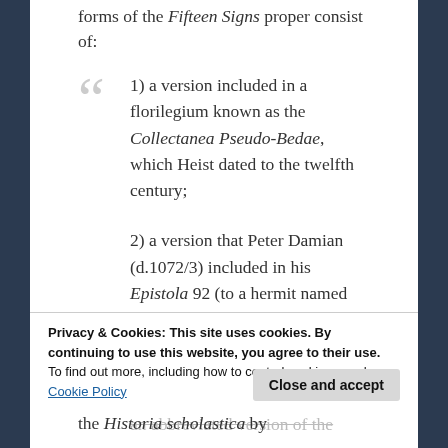forms of the Fifteen Signs proper consist of:
1) a version included in a florilegium known as the Collectanea Pseudo-Bedae, which Heist dated to the twelfth century;
2) a version that Peter Damian (d.1072/3) included in his Epistola 92 (to a hermit named Adam, also known as De Novissimis et Antichristo and Epistola de die iudicii) and Epistola 93 (to one of his sisters, an abbreviated version of the
Privacy & Cookies: This site uses cookies. By continuing to use this website, you agree to their use.
To find out more, including how to control cookies, see here:
Cookie Policy
the Historia scholastica by